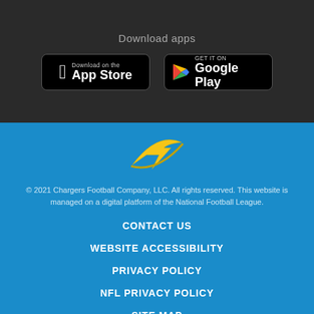Download apps
[Figure (logo): Download on the App Store button (black rounded rectangle with Apple logo)]
[Figure (logo): Get it on Google Play button (black rounded rectangle with Google Play logo)]
[Figure (logo): Los Angeles Chargers lightning bolt logo in yellow and gold on blue background]
© 2021 Chargers Football Company, LLC.  All rights reserved.  This website is managed on a digital platform of the National Football League.
CONTACT US
WEBSITE ACCESSIBILITY
PRIVACY POLICY
NFL PRIVACY POLICY
SITE MAP